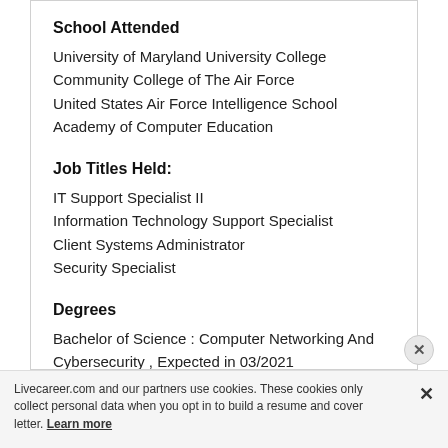School Attended
University of Maryland University College
Community College of The Air Force
United States Air Force Intelligence School
Academy of Computer Education
Job Titles Held:
IT Support Specialist II
Information Technology Support Specialist
Client Systems Administrator
Security Specialist
Degrees
Bachelor of Science : Computer Networking And Cybersecurity , Expected in 03/2021
Livecareer.com and our partners use cookies. These cookies only collect personal data when you opt in to build a resume and cover letter. Learn more